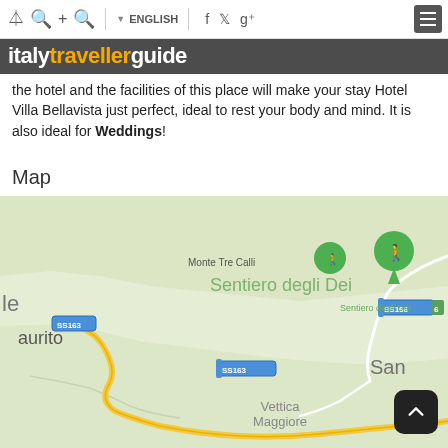italytravellerguide — ENGLISH navigation bar
Public buses every half hour to Amalfi, Positano, Ravello, Sorrento. Parking the hotel and the facilities of this place will make your stay Hotel Villa Bellavista just perfect, ideal to rest your body and mind. It is also ideal for Weddings!
Map
[Figure (map): Google Maps screenshot showing the Amalfi Coast area including Monte Tre Calli, Sentiero degli Dei trail markers, SS166 and SS163 road labels, Vettica Maggiore, Marina di Praia, Praiano, and a yellow winding road along the coast.]